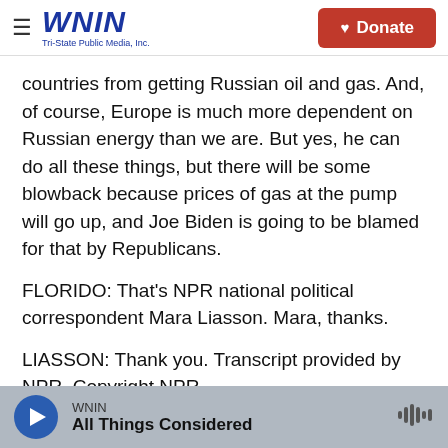WNIN Tri-State Public Media, Inc. | Donate
countries from getting Russian oil and gas. And, of course, Europe is much more dependent on Russian energy than we are. But yes, he can do all these things, but there will be some blowback because prices of gas at the pump will go up, and Joe Biden is going to be blamed for that by Republicans.
FLORIDO: That's NPR national political correspondent Mara Liasson. Mara, thanks.
LIASSON: Thank you. Transcript provided by NPR, Copyright NPR.
WNIN | All Things Considered